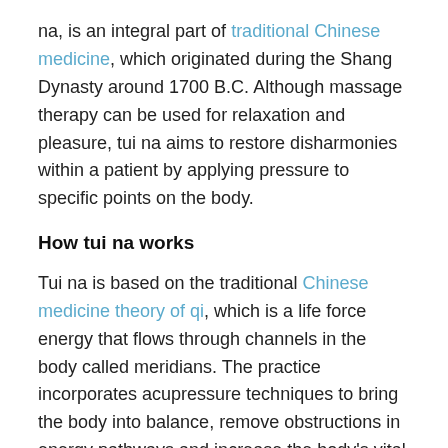na, is an integral part of traditional Chinese medicine, which originated during the Shang Dynasty around 1700 B.C. Although massage therapy can be used for relaxation and pleasure, tui na aims to restore disharmonies within a patient by applying pressure to specific points on the body.
How tui na works
Tui na is based on the traditional Chinese medicine theory of qi, which is a life force energy that flows through channels in the body called meridians. The practice incorporates acupressure techniques to bring the body into balance, remove obstructions in energy pathways and increase the body's vital energy.